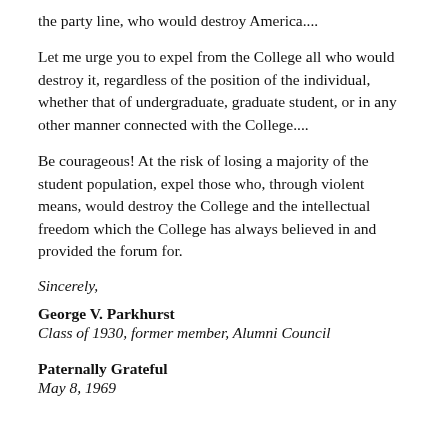the party line, who would destroy America....
Let me urge you to expel from the College all who would destroy it, regardless of the position of the individual, whether that of undergraduate, graduate student, or in any other manner connected with the College....
Be courageous! At the risk of losing a majority of the student population, expel those who, through violent means, would destroy the College and the intellectual freedom which the College has always believed in and provided the forum for.
Sincerely,
George V. Parkhurst
Class of 1930, former member, Alumni Council
Paternally Grateful
May 8, 1969